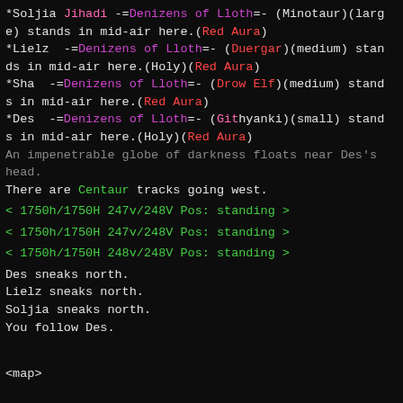*Soljia Jihadi -=Denizens of Lloth=- (Minotaur)(large) stands in mid-air here.(Red Aura)
*Lielz  -=Denizens of Lloth=- (Duergar)(medium) stands in mid-air here.(Holy)(Red Aura)
*Sha  -=Denizens of Lloth=- (Drow Elf)(medium) stands in mid-air here.(Red Aura)
*Des  -=Denizens of Lloth=- (Githyanki)(small) stands in mid-air here.(Holy)(Red Aura)
An impenetrable globe of darkness floats near Des's head.
There are Centaur tracks going west.
< 1750h/1750H 247v/248V Pos: standing >
< 1750h/1750H 247v/248V Pos: standing >
< 1750h/1750H 248v/248V Pos: standing >
Des sneaks north.
Lielz sneaks north.
Soljia sneaks north.
You follow Des.
<map>